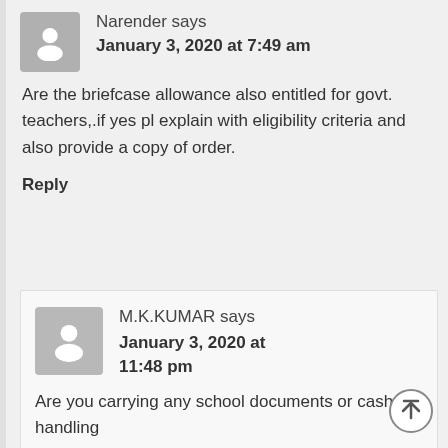Narender says
January 3, 2020 at 7:49 am
Are the briefcase allowance also entitled for govt. teachers,.if yes pl explain with eligibility criteria and also provide a copy of order.
Reply
M.K.KUMAR says
January 3, 2020 at
11:48 pm
Are you carrying any school documents or cash handling